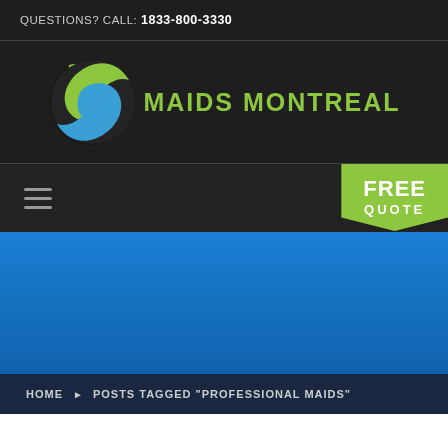QUESTIONS? CALL: 1833-800-3330
[Figure (logo): Maids Montreal logo: circular green and blue swirl icon with text MAIDS MONTREAL in green uppercase letters]
[Figure (other): Navigation bar with hamburger menu icon on the left and a green FREE QUOTE button on the right]
HOME ▶ POSTS TAGGED "PROFESSIONAL MAIDS"